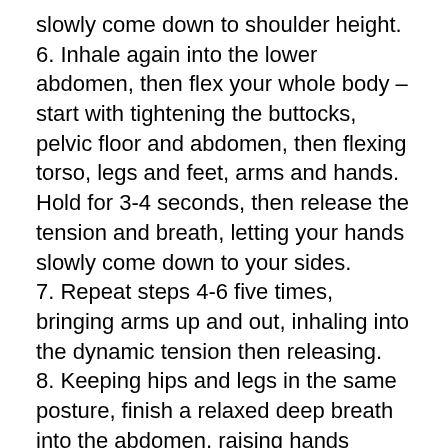slowly come down to shoulder height. 6. Inhale again into the lower abdomen, then flex your whole body – start with tightening the buttocks, pelvic floor and abdomen, then flexing torso, legs and feet, arms and hands. Hold for 3-4 seconds, then release the tension and breath, letting your hands slowly come down to your sides. 7. Repeat steps 4-6 five times, bringing arms up and out, inhaling into the dynamic tension then releasing. 8. Keeping hips and legs in the same posture, finish a relaxed deep breath into the abdomen, raising hands palms up to the sides of the chest, then\ timed with a relaxed exhale, turn the palms down and lower them to your sides. Repeat this three times. 9. Finally, bring your feet together, arms by your side, hips still slightly tilted so there is subtle tension in the pelvic floor and do a couple of normal breathes engaging the lower abdomen gently. Chin is in, spine and neck long, straight as if lifted. Relax your mind